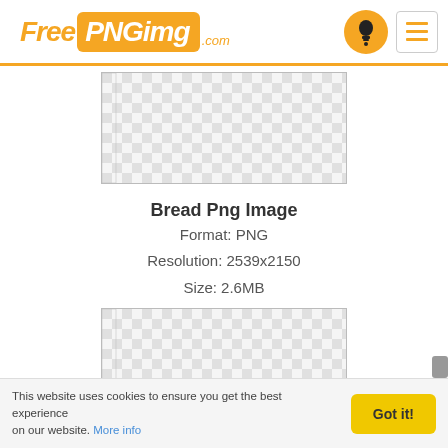FreePNGimg.com
[Figure (screenshot): Checkerboard transparency placeholder image (top), showing a PNG image preview area with grey and white checker pattern]
Bread Png Image
Format: PNG
Resolution: 2539x2150
Size: 2.6MB
Downloads: 350
[Figure (screenshot): Checkerboard transparency placeholder image (bottom), showing a PNG image preview area with grey and white checker pattern]
This website uses cookies to ensure you get the best experience on our website. More info